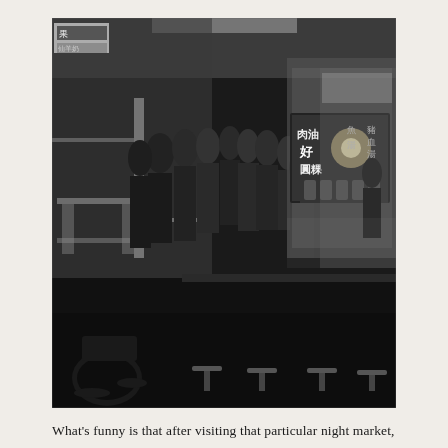[Figure (photo): Black and white photograph of a busy night market food stall, likely in Taiwan (Hwahsi/Snake Alley market). A crowd of people stand in line at a counter with Chinese characters on illuminated signs reading 肉油圓粿, 好, 魚湯, 豬血湯. The scene is dimly lit with bright lights inside the stall. Motorcycles and stools are visible in the foreground.]
What's funny is that after visiting that particular night market, I realised its also called Hwahsi market, aka the Snake Alley. What's funny was that I didn't see any snakes at all. Maybe I didn't walk the entire length, but everyone seems to be selling the usual fried stuff on sticks, and I had a cheap